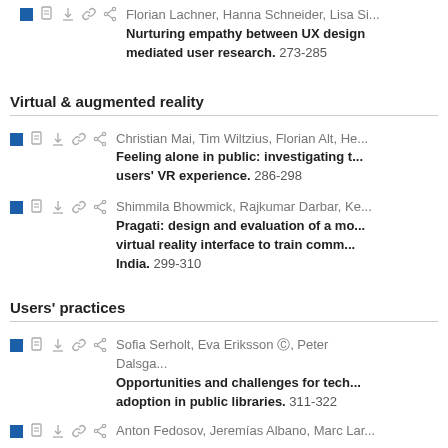Florian Lachner, Hanna Schneider, Lisa Si... Nurturing empathy between UX designers and mediated user research. 273-285
Virtual & augmented reality
Christian Mai, Tim Wiltzius, Florian Alt, He... Feeling alone in public: investigating the users' VR experience. 286-298
Shimmila Bhowmick, Rajkumar Darbar, Ke... Pragati: design and evaluation of a mobile virtual reality interface to train comm... India. 299-310
Users' practices
Sofia Serholt, Eva Eriksson, Peter Dalsga... Opportunities and challenges for technology adoption in public libraries. 311-322
Anton Fedosov, Jeremías Albano, Marc Lar...